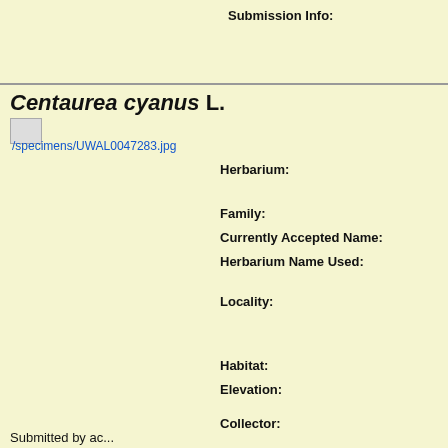Submission Info:
Submitted by ac... 2021
Centaurea cyanus L.
/specimens/UWAL0047283.jpg
| Field | Value |
| --- | --- |
| Herbarium: | University of W... Herbarium (UW... |
| Family: | ASTERACEAE |
| Currently Accepted Name: | Centaurea cyann... |
| Herbarium Name Used: | Centaurea cyanu... |
| Locality: | USA. Alabama. Highway 14, 0.1... Autauga County... 30" N, 86° 41' 3... |
| Habitat: | Roadside, sandy... |
| Elevation: | 321 ft |
| Collector: | Parker, Matthew... with Alvin R. I... Cameron Byrd ... |
| Date: | 11 Apr 2017 |
| Accession No: | UWAL0047283 |
| Image: | UWAL0047283... |
| Plant Atlas Link: | Plant Atlas Cita... |
Submitted by ac...